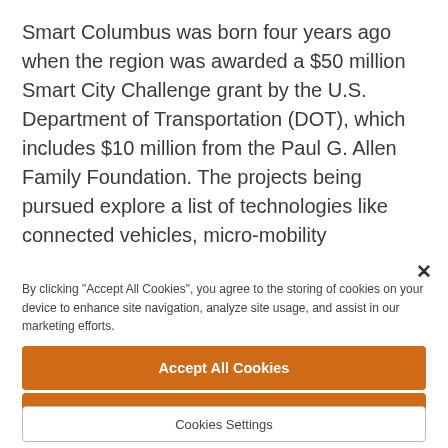Smart Columbus was born four years ago when the region was awarded a $50 million Smart City Challenge grant by the U.S. Department of Transportation (DOT), which includes $10 million from the Paul G. Allen Family Foundation. The projects being pursued explore a list of technologies like connected vehicles, micro-mobility
By clicking "Accept All Cookies", you agree to the storing of cookies on your device to enhance site navigation, analyze site usage, and assist in our marketing efforts.
Accept All Cookies
Reject All
Cookies Settings